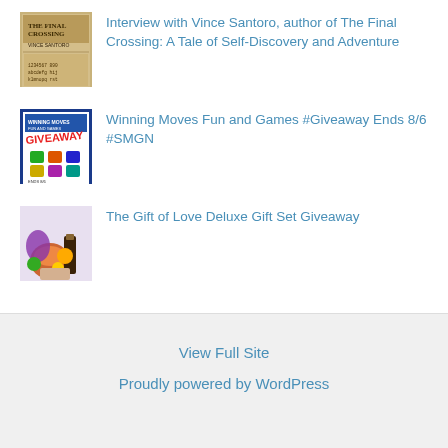Interview with Vince Santoro, author of The Final Crossing: A Tale of Self-Discovery and Adventure
[Figure (illustration): Book cover thumbnail for The Final Crossing by Vince Santoro, tan/beige colored cover with text]
Winning Moves Fun and Games #Giveaway Ends 8/6 #SMGN
[Figure (illustration): Colorful giveaway promotional image with blue border, showing various game items and text]
The Gift of Love Deluxe Gift Set Giveaway
[Figure (illustration): Gift set photo showing colorful items including what appears to be fruit, candles, and chocolates]
View Full Site
Proudly powered by WordPress